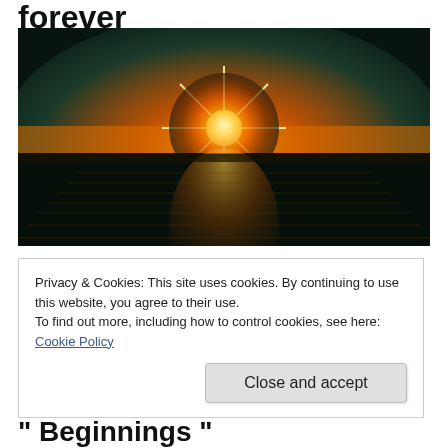forever
[Figure (photo): Sunset over ocean with bright starburst sun low on horizon, orange and gold sky reflecting on dark water]
Privacy & Cookies: This site uses cookies. By continuing to use this website, you agree to their use.
To find out more, including how to control cookies, see here: Cookie Policy
Close and accept
" Beginnings "